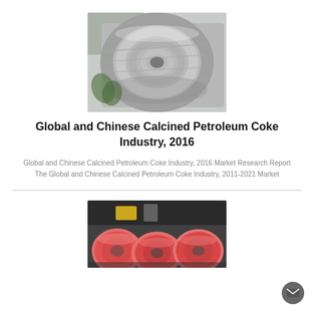[Figure (photo): A rolled coil of aluminum or steel metal wire/strip, showing circular ridges, metallic silver-gray color, industrial product photo on white background.]
Global and Chinese Calcined Petroleum Coke Industry, 2016
Global and Chinese Calcined Petroleum Coke Industry, 2016 Market Research Report The Global and Chinese Calcined Petroleum Coke Industry, 2011-2021 Market
[Figure (photo): Three rolls of wire or cable wrapped in pink protective covering, dark industrial background.]